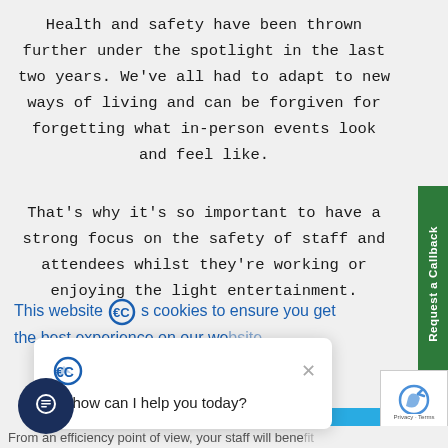Health and safety have been thrown further under the spotlight in the last two years. We've all had to adapt to new ways of living and can be forgiven for forgetting what in-person events look and feel like.
That's why it's so important to have a strong focus on the safety of staff and attendees whilst they're working or enjoying the light entertainment.
This website uses cookies to ensure you get the best experience on our website.
Hi, how can I help you today?
Got it!
From an efficiency point of view, your staff will benefit